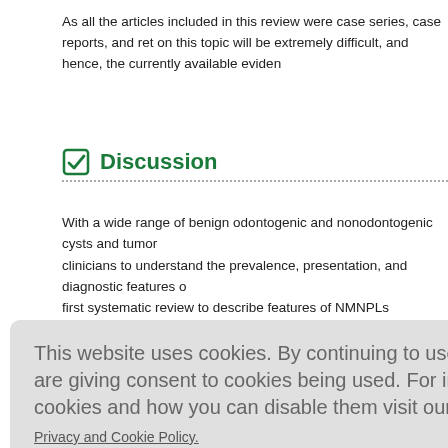As all the articles included in this review were case series, case reports, and ret on this topic will be extremely difficult, and hence, the currently available eviden
Discussion
With a wide range of benign odontogenic and nonodontogenic cysts and tumors clinicians to understand the prevalence, presentation, and diagnostic features o first systematic review to describe features of NMNPLs mimicking lesions of en review analyzed 73 articles (61 case reports, 9 case series, and 3 retrospective
ol for case n most of t
quently in t illa and po ew due to symptoma lesion wer lthough th
[Figure (screenshot): Cookie consent overlay with red AGREE & PROCEED button on gray rounded rectangle background]
Radiographically, a vast majority of NMNPLs had a unilocular radiolucency. This